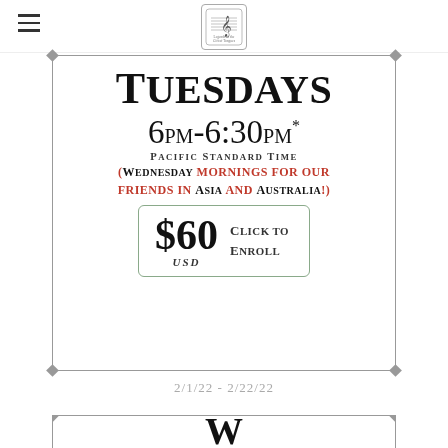Legends of the Gift of Tongues (logo)
Tuesdays
6PM-6:30PM*
Pacific Standard Time
(Wednesday mornings for our friends in Asia and Australia!)
$60 USD Click to Enroll
2/1/22 - 2/22/22
W...